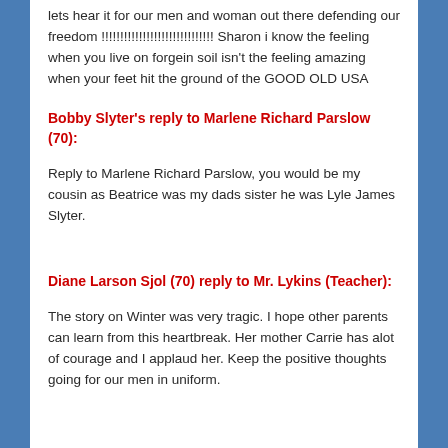lets hear it for our men and woman out there defending our freedom !!!!!!!!!!!!!!!!!!!!!!!!!!!!!! Sharon i know the feeling when you live on forgein soil isn't the feeling amazing when your feet hit the ground of the GOOD OLD USA
Bobby Slyter's reply to Marlene Richard Parslow (70):
Reply to Marlene Richard Parslow, you would be my cousin as Beatrice was my dads sister he was Lyle James Slyter.
Diane Larson Sjol (70) reply to Mr. Lykins (Teacher):
The story on Winter was very tragic. I hope other parents can learn from this heartbreak. Her mother Carrie has alot of courage and I applaud her. Keep the positive thoughts going for our men in uniform.